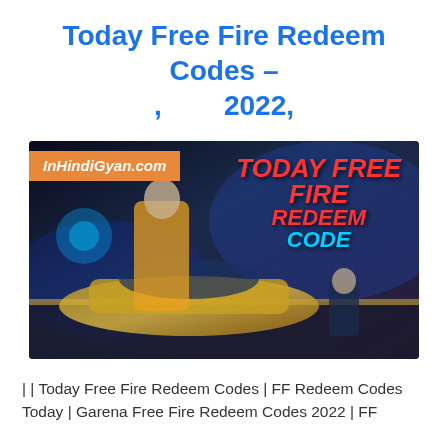Today Free Fire Redeem Codes – , 2022,
[Figure (illustration): Promotional banner for Free Fire game showing a female character in yellow outfit next to a golden car, with text 'TODAY FREE FIRE REDEEM CODE' in red and cyan on the right side, and 'InHindiGyan.com' orange banner on the upper left.]
| | Today Free Fire Redeem Codes | FF Redeem Codes Today | Garena Free Fire Redeem Codes 2022 | FF